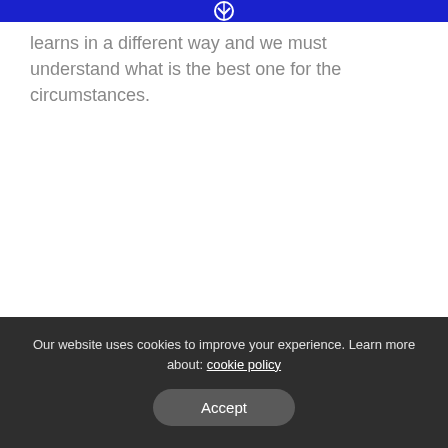[logo]
learns in a different way and we must understand what is the best one for the circumstances.
Our website uses cookies to improve your experience. Learn more about: cookie policy
Accept